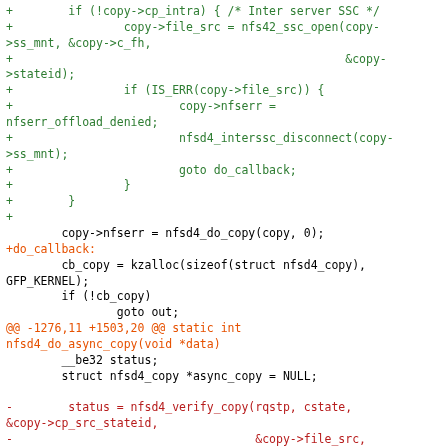[Figure (other): Source code diff showing C code for NFS server copy operations, with green lines for additions, red lines for deletions, orange for diff hunk headers, and black for context lines.]